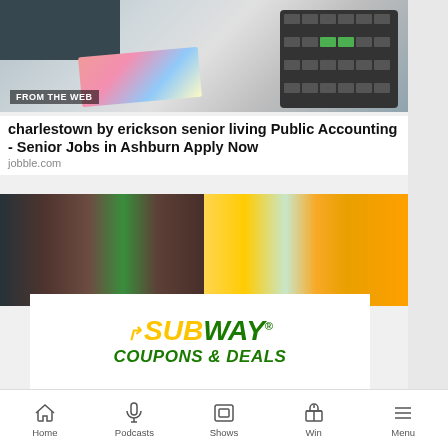[Figure (photo): Photo of a calculator being used with a laptop keyboard and papers in the background, labeled 'FROM THE WEB']
charlestown by erickson senior living Public Accounting - Senior Jobs in Ashburn Apply Now
jobble.com
[Figure (photo): Subway restaurant advertisement showing sandwiches and the Subway logo with 'COUPONS & DEALS' text]
LIVE 3PM Pick Up with Megan
KEITH URBAN WITH PINK - ONE TOO MANY
Home  Podcasts  Shows  Win  Menu